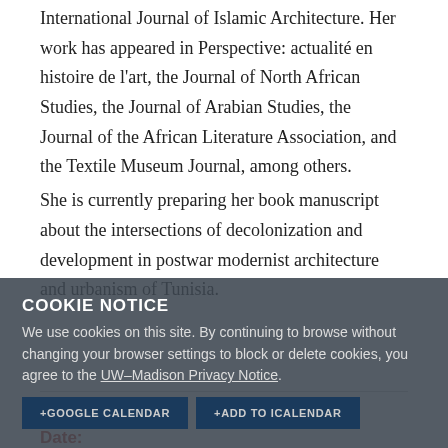International Journal of Islamic Architecture. Her work has appeared in Perspective: actualité en histoire de l'art, the Journal of North African Studies, the Journal of Arabian Studies, the Journal of the African Literature Association, and the Textile Museum Journal, among others.
She is currently preparing her book manuscript about the intersections of decolonization and development in postwar modernist architecture and urbanism of Tunisia.
COOKIE NOTICE
We use cookies on this site. By continuing to browse without changing your browser settings to block or delete cookies, you agree to the UW–Madison Privacy Notice.
+GOOGLE CALENDAR  +ADD TO ICALENDAR
GOT IT!
Details
Date: